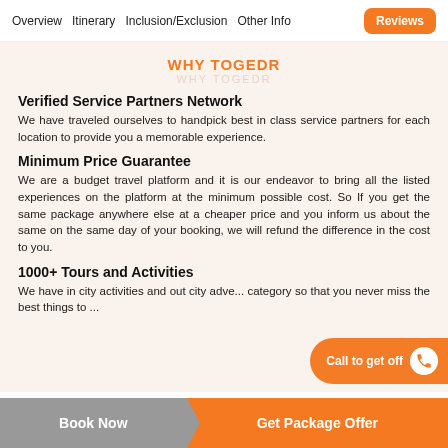Overview  Itinerary  Inclusion/Exclusion  Other Info  Reviews
WHY TOGEDR
Verified Service Partners Network
We have traveled ourselves to handpick best in class service partners for each location to provide you a memorable experience.
Minimum Price Guarantee
We are a budget travel platform and it is our endeavor to bring all the listed experiences on the platform at the minimum possible cost. So If you get the same package anywhere else at a cheaper price and you inform us about the same on the same day of your booking, we will refund the difference in the cost to you.
1000+ Tours and Activities
We have in city activities and out city adve... category so that you never miss the best things to ...
Book Now  Get Package Offer